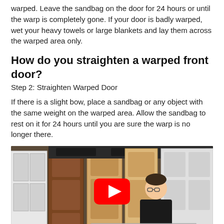warped. Leave the sandbag on the door for 24 hours or until the warp is completely gone. If your door is badly warped, wet your heavy towels or large blankets and lay them across the warped area only.
How do you straighten a warped front door?
Step 2: Straighten Warped Door
If there is a slight bow, place a sandbag or any object with the same weight on the warped area. Allow the sandbag to rest on it for 24 hours until you are sure the warp is no longer there.
[Figure (screenshot): Video thumbnail showing a man in a black jacket leaning over a door in a showroom with multiple doors displayed behind him. A red YouTube play button is overlaid in the center.]